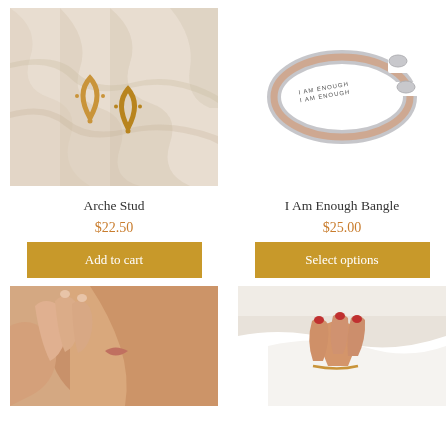[Figure (photo): Gold arch stud earrings on a cream fabric background]
[Figure (photo): Silver and rose gold 'I Am Enough' bangle bracelet on white background]
Arche Stud
I Am Enough Bangle
$22.50
$25.00
Add to cart
Select options
[Figure (photo): Close-up of a woman's face and hand touching neck]
[Figure (photo): Hand with red nails holding jewelry against white background]